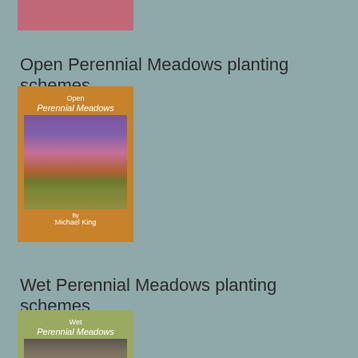[Figure (illustration): Top portion of a book cover with pink/mauve color, partially visible at top of page]
Open Perennial Meadows planting schemes
[Figure (illustration): Book cover for 'Open Perennial Meadows' by Michael King, orange background with photo of purple flowering meadow grasses]
Wet Perennial Meadows planting schemes
[Figure (illustration): Book cover for 'Wet Perennial Meadows', olive/yellow-green background, partially visible at bottom of page]